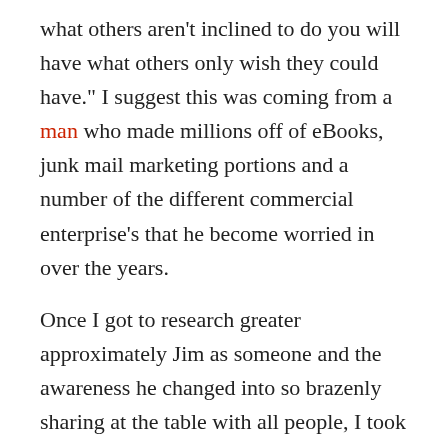what others aren't inclined to do you will have what others only wish they could have." I suggest this was coming from a man who made millions off of eBooks, junk mail marketing portions and a number of the different commercial enterprise's that he become worried in over the years.
Once I got to research greater approximately Jim as someone and the awareness he changed into so brazenly sharing at the table with all people, I took down intellectual notes and started to apply them in my ordinary life. If you do the little things that humans inform then you'll begin to see even bigger results.
He wasn't one of these flashy marketers who need to have all of the modern day devices and whiz-bang websites. His情 was more it simply had to do the point...